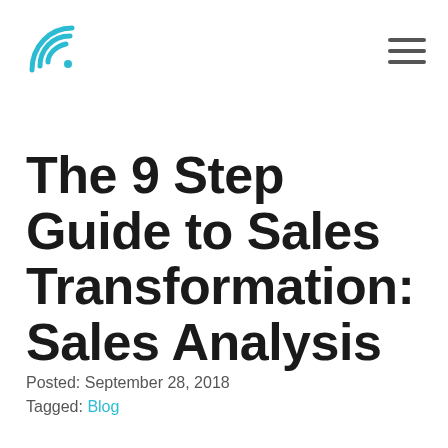[Logo and navigation hamburger menu]
The 9 Step Guide to Sales Transformation: Sales Analysis
Posted: September 28, 2018
Tagged: Blog